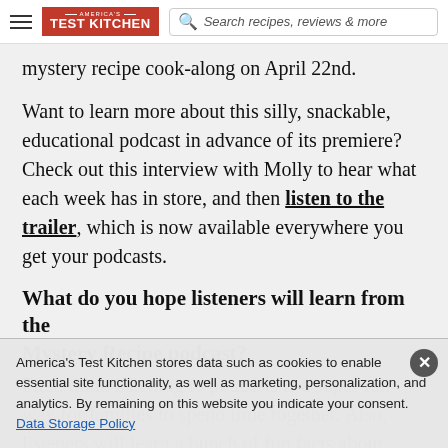America's Test Kitchen — Search recipes, reviews & more
mystery recipe cook-along on April 22nd.
Want to learn more about this silly, snackable, educational podcast in advance of its premiere? Check out this interview with Molly to hear what each week has in store, and then listen to the trailer, which is now available everywhere you get your podcasts.
What do you hope listeners will learn from the Mystery Recipe podcast?
First, think listening to podcasts is a super fun way for families to spend time together. Also, listeners will learn a bunch of fun facts about different
America's Test Kitchen stores data such as cookies to enable essential site functionality, as well as marketing, personalization, and analytics. By remaining on this website you indicate your consent. Data Storage Policy